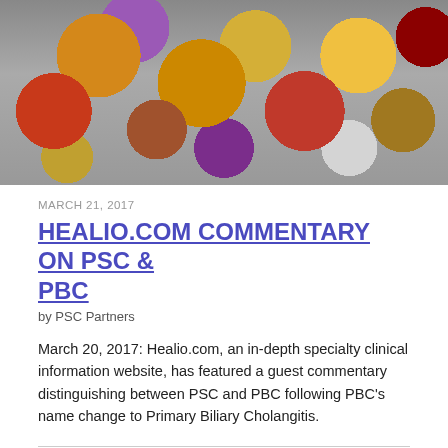[Figure (photo): Photo of a person wearing a colorful polka dot patterned garment, with circular shapes in orange, red, purple, yellow, and white on a dark background, against a grey backdrop.]
MARCH 21, 2017
HEALIO.COM COMMENTARY ON PSC & PBC
by PSC Partners
March 20, 2017: Healio.com, an in-depth specialty clinical information website, has featured a guest commentary distinguishing between PSC and PBC following PBC's name change to Primary Biliary Cholangitis.